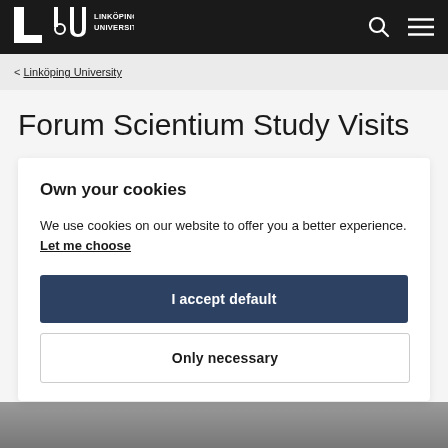Linköping University
< Linköping University
Forum Scientium Study Visits
Own your cookies
We use cookies on our website to offer you a better experience. Let me choose
I accept default
Only necessary